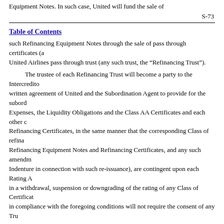Equipment Notes. In such case, United will fund the sale of
S-73
Table of Contents
such Refinancing Equipment Notes through the sale of pass through certificates (as United Airlines pass through trust (any such trust, the “Refinancing Trust”).
The trustee of each Refinancing Trust will become a party to the Intercredito written agreement of United and the Subordination Agent to provide for the subord Expenses, the Liquidity Obligations and the Class AA Certificates and each other c Refinancing Certificates, in the same manner that the corresponding Class of refina Refinancing Equipment Notes and Refinancing Certificates, and any such amendm Indenture in connection with such re-issuance), are contingent upon each Rating A in a withdrawal, suspension or downgrading of the rating of any Class of Certificat in compliance with the foregoing conditions will not require the consent of any Tru
Additional Liquidity Facilities
Refinancing Certificates in respect of refinanced Class A Certificates or Clas Liquidity Facility for the Class A Trust or Class B Trust or different therefrom and other obligations arising from such credit support may rank equally with similar cl consent of the Class AA Liquidity Provider shall have been obtained and each Rati such actions will not result in a withdrawal, suspension, or downgrading of the rati that remains outstanding.